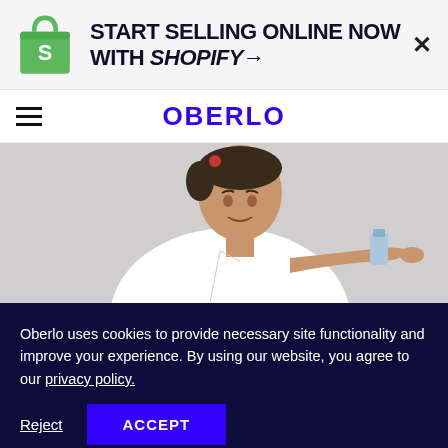[Figure (logo): Shopify ad banner with green shopping bag logo and text: START SELLING ONLINE NOW WITH SHOPIFY→, with X close button]
OBERLO
[Figure (photo): Woman in white shirt holding a small bottle, looking up and pointing, against light gray background]
Oberlo uses cookies to provide necessary site functionality and improve your experience. By using our website, you agree to our privacy policy.
Reject  ACCEPT